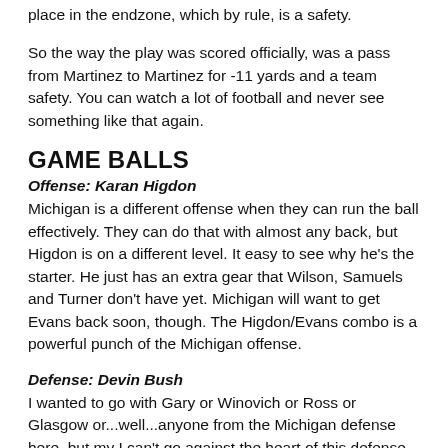place in the endzone, which by rule, is a safety.
So the way the play was scored officially, was a pass from Martinez to Martinez for -11 yards and a team safety. You can watch a lot of football and never see something like that again.
GAME BALLS
Offense: Karan Higdon
Michigan is a different offense when they can run the ball effectively. They can do that with almost any back, but Higdon is on a different level. It easy to see why he's the starter. He just has an extra gear that Wilson, Samuels and Turner don't have yet. Michigan will want to get Evans back soon, though. The Higdon/Evans combo is a powerful punch of the Michigan offense.
Defense: Devin Bush
I wanted to go with Gary or Winovich or Ross or Glasgow or...well...anyone from the Michigan defense here, but my I can't go against the heart of this defense. Devin Bush is just a freak of nature. His speed, toughness and vision are a